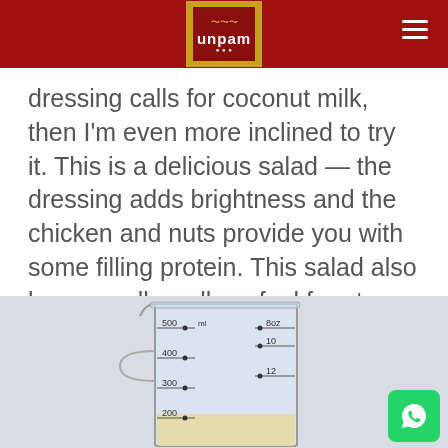unpam
dressing calls for coconut milk, then I'm even more inclined to try it. This is a delicious salad — the dressing adds brightness and the chicken and nuts provide you with some filling protein. This salad also keeps really well, so feel free to make it ahead for a potluck or Sunday lunch. Enjoy.
[Figure (photo): A glass laboratory beaker with measurement markings (200ml, 300ml, 400ml, 500ml on left side; 8oz, 10, 12 on right side), containing a light yellowish liquid at the bottom. A green WhatsApp button icon is visible in the bottom right corner.]